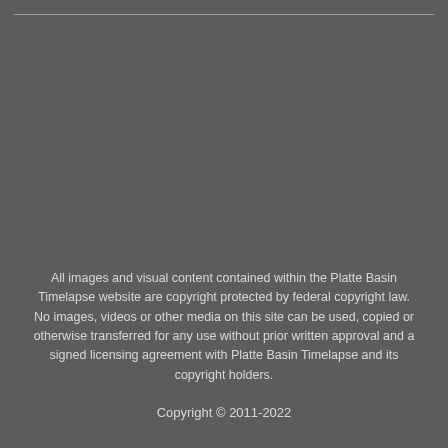All images and visual content contained within the Platte Basin Timelapse website are copyright protected by federal copyright law. No images, videos or other media on this site can be used, copied or otherwise transferred for any use without prior written approval and a signed licensing agreement with Platte Basin Timelapse and its copyright holders.
Copyright © 2011-2022